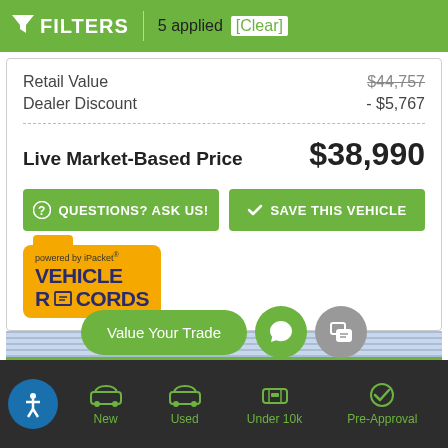FILTERS | 5 applied [Clear]
| Retail Value | $44,757 |
| Dealer Discount | - $5,767 |
| Live Market-Based Price | $38,990 |
[Figure (screenshot): QUESTIONS? ASK US! and SAVE THIS VEHICLE green buttons]
[Figure (logo): powered by iPacket VEHICLE RECORDS logo with folder graphic]
[Figure (screenshot): Value Your Trade pill button, chat circle button, message circle button, OEM Certified label]
New | Used | Under 10k | Pre-Approval